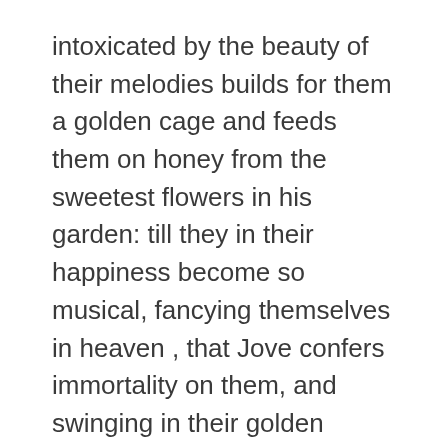intoxicated by the beauty of their melodies builds for them a golden cage and feeds them on honey from the sweetest flowers in his garden: till they in their happiness become so musical, fancying themselves in heaven , that Jove confers immortality on them, and swinging in their golden cages they sing sweetly forever, lifting up the hearts of men in every clime and generation.
As I read in the lobby a lady sat down opposite me in a comfortable old sofa, about four feet away across a gently rugged coffee table.